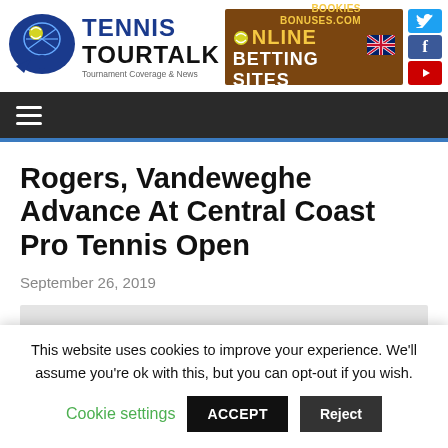[Figure (logo): Tennis TourTalk logo with racket/ball icon, blue and black text, tagline 'Tournament Coverage & News']
[Figure (infographic): Advertisement banner: 'Compare Online Betting Sites - Bookies Bonuses .com' with UK flag, orange/brown background]
[Figure (logo): Social media icons: Twitter (blue), Facebook (blue), YouTube (red)]
≡ (hamburger menu navigation bar)
Rogers, Vandeweghe Advance At Central Coast Pro Tennis Open
September 26, 2019
This website uses cookies to improve your experience. We'll assume you're ok with this, but you can opt-out if you wish.
Cookie settings  ACCEPT  Reject